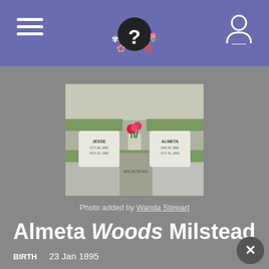Almeta Woods Milstead - genealogy/memorial page header
[Figure (photo): Photograph of two grave markers for Jesse and Almeta Milstead with a vase of red flowers between them, set in a gravel cemetery.]
Photo added by Wanda Stewart
Almeta Woods Milstead
BIRTH   23 Jan 1895
DEATH   31 Oct 1963 (aged 68)